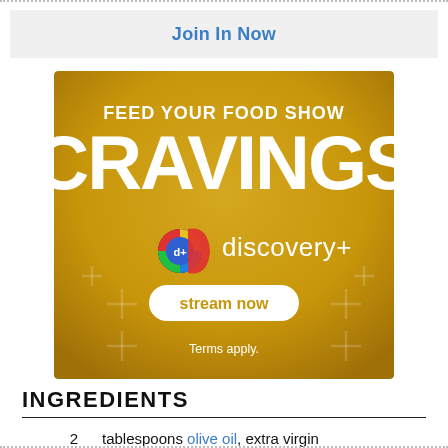Join In Now
[Figure (illustration): Discovery+ advertisement banner with gold background. Text reads 'FEED YOUR FOOD SHOW CRAVINGS' with Discovery+ logo and 'stream now' button. Terms apply.]
INGREDIENTS
2  tablespoons olive oil, extra virgin